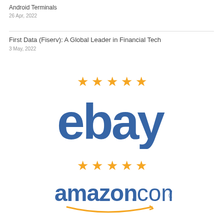Android Terminals
26 Apr, 2022
First Data (Fiserv): A Global Leader in Financial Tech
3 May, 2022
[Figure (logo): Five gold stars rating above eBay logo in blue text]
[Figure (logo): Five gold stars rating above Amazon.com logo in blue text with arrow]